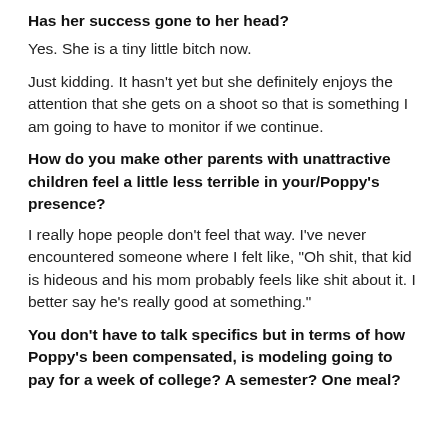Has her success gone to her head?
Yes. She is a tiny little bitch now.
Just kidding. It hasn't yet but she definitely enjoys the attention that she gets on a shoot so that is something I am going to have to monitor if we continue.
How do you make other parents with unattractive children feel a little less terrible in your/Poppy's presence?
I really hope people don't feel that way. I've never encountered someone where I felt like, "Oh shit, that kid is hideous and his mom probably feels like shit about it. I better say he's really good at something."
You don't have to talk specifics but in terms of how Poppy's been compensated, is modeling going to pay for a week of college? A semester? One meal?